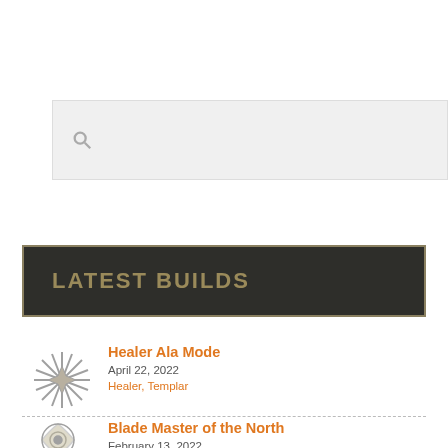[Figure (other): Search box with magnifying glass icon on light grey background]
LATEST BUILDS
[Figure (illustration): Starburst/compass-like icon in grey for Healer build]
Healer Ala Mode
April 22, 2022
Healer, Templar
[Figure (illustration): Circular swirl icon in grey for Blade Master build]
Blade Master of the North
February 13, 2022